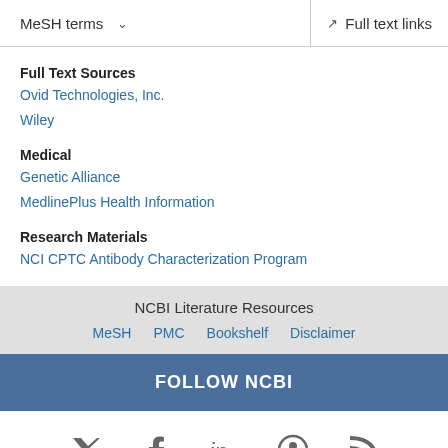MeSH terms  ∨    Full text links
Full Text Sources
Ovid Technologies, Inc.
Wiley
Medical
Genetic Alliance
MedlinePlus Health Information
Research Materials
NCI CPTC Antibody Characterization Program
NCBI Literature Resources
MeSH  PMC  Bookshelf  Disclaimer
FOLLOW NCBI